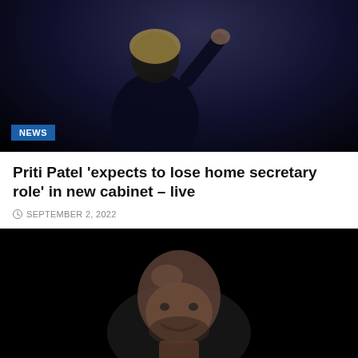[Figure (photo): Photo of a woman with blonde hair in a dark top, waving, against a dark background, with a blue 'NEWS' badge in the lower left corner]
Priti Patel 'expects to lose home secretary role' in new cabinet – live
SEPTEMBER 2, 2022
[Figure (photo): Photo of a bald man smiling, photographed against a black background]